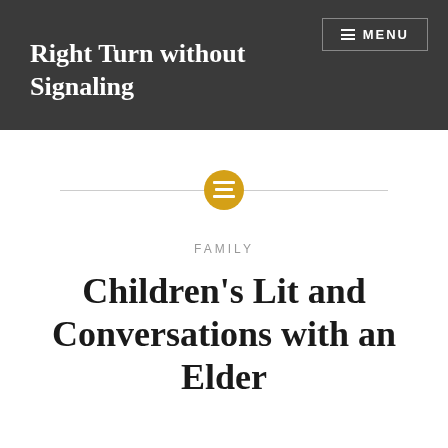Right Turn without Signaling
FAMILY
Children's Lit and Conversations with an Elder